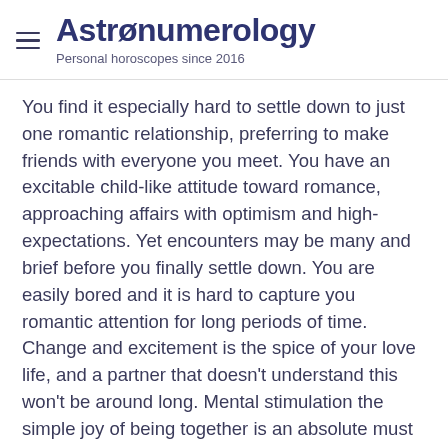Astronumerology — Personal horoscopes since 2016
You find it especially hard to settle down to just one romantic relationship, preferring to make friends with everyone you meet. You have an excitable child-like attitude toward romance, approaching affairs with optimism and high-expectations. Yet encounters may be many and brief before you finally settle down. You are easily bored and it is hard to capture you romantic attention for long periods of time. Change and excitement is the spice of your love life, and a partner that doesn't understand this won't be around long. Mental stimulation the simple joy of being together is an absolute must for any relationship to have a chance of becoming permanent. With Venus in Gemini, you may not be able to be tied down too tightly. If you marry too young or to someone who is possessive, you may have serious problems. Your partner must understand your need for variety in social matters.